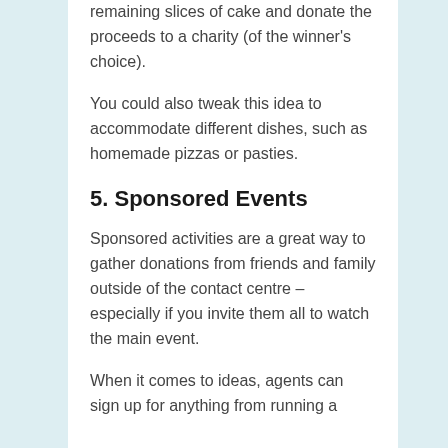remaining slices of cake and donate the proceeds to a charity (of the winner's choice).
You could also tweak this idea to accommodate different dishes, such as homemade pizzas or pasties.
5. Sponsored Events
Sponsored activities are a great way to gather donations from friends and family outside of the contact centre – especially if you invite them all to watch the main event.
When it comes to ideas, agents can sign up for anything from running a